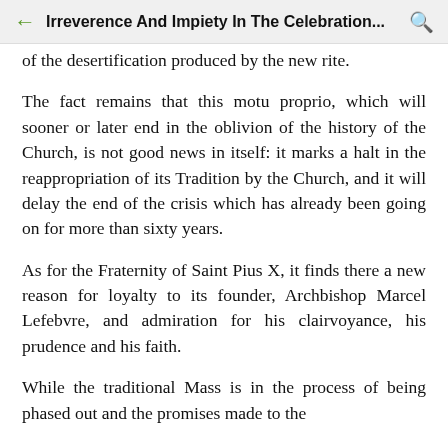Irreverence And Impiety In The Celebration...
of the desertification produced by the new rite.
The fact remains that this motu proprio, which will sooner or later end in the oblivion of the history of the Church, is not good news in itself: it marks a halt in the reappropriation of its Tradition by the Church, and it will delay the end of the crisis which has already been going on for more than sixty years.
As for the Fraternity of Saint Pius X, it finds there a new reason for loyalty to its founder, Archbishop Marcel Lefebvre, and admiration for his clairvoyance, his prudence and his faith.
While the traditional Mass is in the process of being phased out and the promises made to the